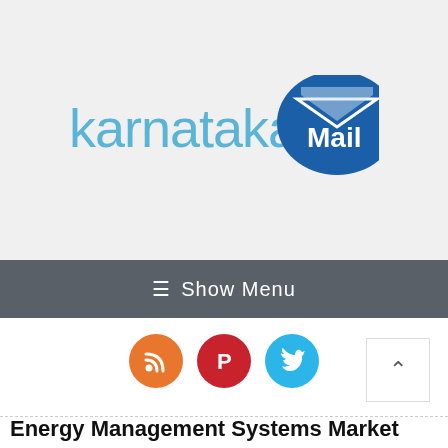[Figure (logo): Karnataka Mail logo with stylized text 'karnataka' in light blue and 'Mail' in white on a dark blue oval badge with envelope graphic]
[Figure (infographic): Navigation bar with hamburger menu icon and 'Show Menu' text in white on dark gray background]
[Figure (infographic): Three social media icons: RSS (orange), Pinterest (red), Twitter (blue), plus a back-to-top arrow button]
Energy Management Systems Market